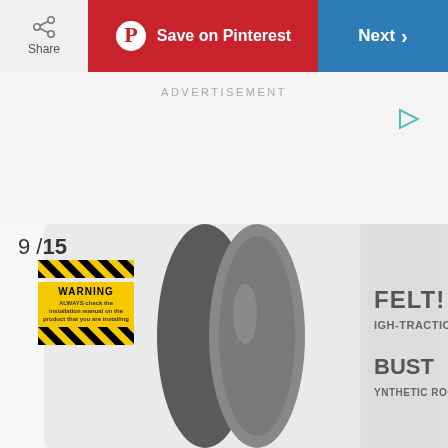[Figure (screenshot): Top toolbar with Share button, Save on Pinterest button (red), and Next button (blue)]
ADVERTISEMENT
[Figure (photo): Roofing product rolls - synthetic roofing felt (FELT! HIGH-TRACTION BUST SYNTHETIC ROOFING) with a warning label overlay showing 9/15 slide number]
9/15
WARNING - ALWAYS check the installation manual on the product that you are installing